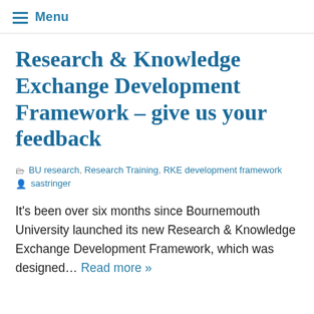≡ Menu
Research & Knowledge Exchange Development Framework – give us your feedback
BU research, Research Training, RKE development framework
sastringer
It's been over six months since Bournemouth University launched its new Research & Knowledge Exchange Development Framework, which was designed… Read more »